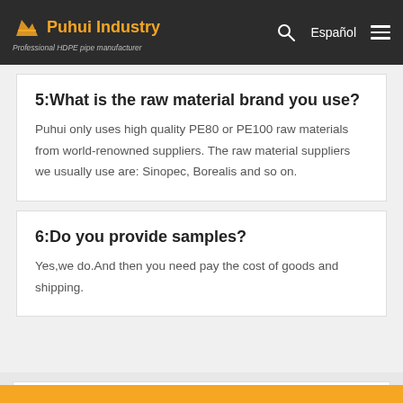Puhui Industry - Professional HDPE pipe manufacturer
5:What is the raw material brand you use?
Puhui only uses high quality PE80 or PE100 raw materials from world-renowned suppliers. The raw material suppliers we usually use are: Sinopec, Borealis and so on.
6:Do you provide samples?
Yes,we do.And then you need pay the cost of goods and shipping.
[Figure (photo): Product image at bottom of page with scroll-to-top button]